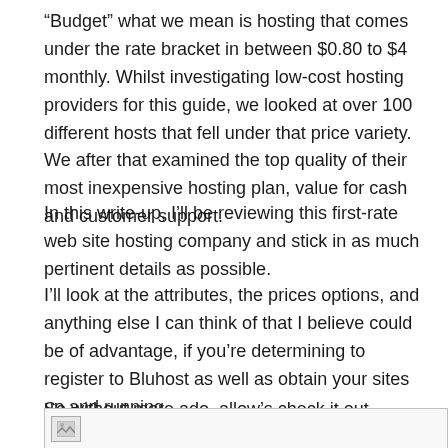“Budget” what we mean is hosting that comes under the rate bracket in between $0.80 to $4 monthly. Whilst investigating low-cost hosting providers for this guide, we looked at over 100 different hosts that fell under that price variety. We after that examined the top quality of their most inexpensive hosting plan, value for cash and customer support.
In this write-up, I’ll be reviewing this first-rate web site hosting company and stick in as much pertinent details as possible.
I’ll look at the attributes, the prices options, and anything else I can think of that I believe could be of advantage, if you’re determining to register to Bluhost as well as obtain your sites up and running.
So without more ado, allow’s check it out.
[Figure (photo): Broken image placeholder icon at bottom of page]